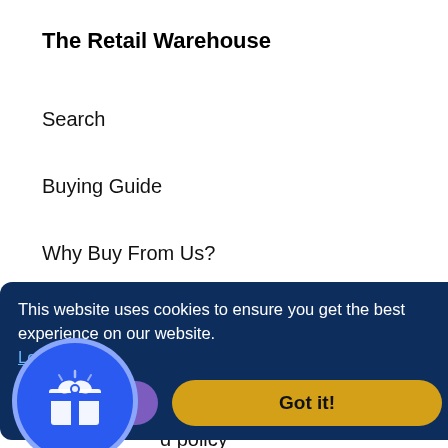The Retail Warehouse
Search
Buying Guide
Why Buy From Us?
Blog
of Service
d policy
[Figure (illustration): Blue circular gift/rewards icon with a white gift box graphic and white border ring]
This website uses cookies to ensure you get the best experience on our website. Learn more
Rewards
Got it!